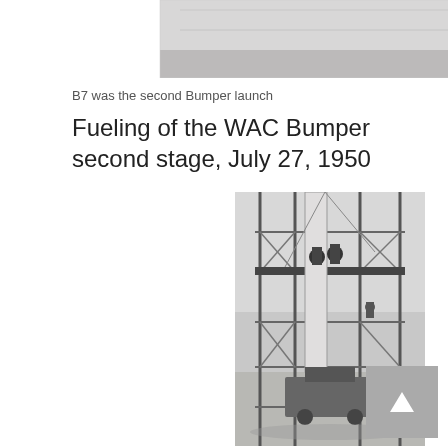[Figure (photo): Partial view of a black and white aerial or outdoor scene, cropped at top of page]
B7 was the second Bumper launch
Fueling of the WAC Bumper second stage, July 27, 1950
[Figure (photo): Black and white photograph showing workers on scaffolding fueling the WAC Bumper second stage rocket on July 27, 1950. A tall rocket is visible within the scaffolding structure, with workers at the top platform.]